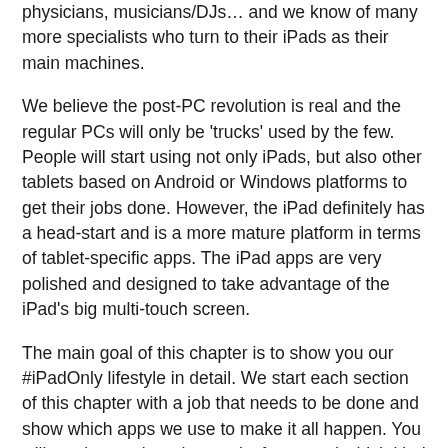physicians, musicians/DJs… and we know of many more specialists who turn to their iPads as their main machines.
We believe the post-PC revolution is real and the regular PCs will only be 'trucks' used by the few. People will start using not only iPads, but also other tablets based on Android or Windows platforms to get their jobs done. However, the iPad definitely has a head-start and is a more mature platform in terms of tablet-specific apps. The iPad apps are very polished and designed to take advantage of the iPad's big multi-touch screen.
The main goal of this chapter is to show you our #iPadOnly lifestyle in detail. We start each section of this chapter with a job that needs to be done and show which apps we use to make it all happen. You will see in practice what works for us and which kind